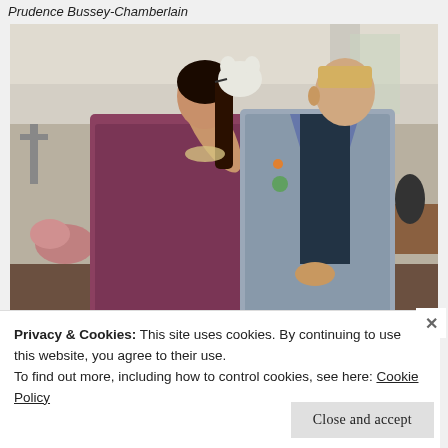Prudence Bussey-Chamberlain
[Figure (photo): Two people standing inside a church interior. A woman with dark hair holding a small white stuffed animal toy, wearing a patterned dress and layered necklaces. A man beside her wearing a floral/bird-print blazer over a dark shirt, with short blonde hair. Church pews, columns, and religious decor visible in the background.]
Privacy & Cookies: This site uses cookies. By continuing to use this website, you agree to their use.
To find out more, including how to control cookies, see here: Cookie Policy
Close and accept